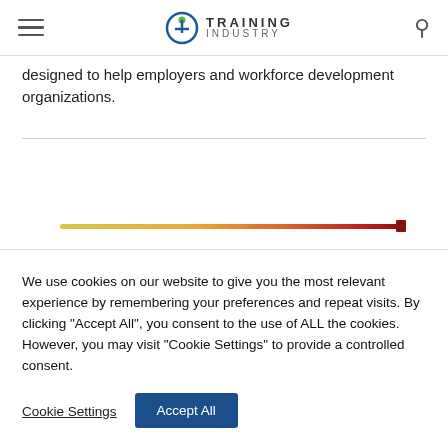Training Industry
designed to help employers and workforce development organizations.
[Figure (other): Horizontal gradient bar transitioning from yellow-green on the left to red on the right]
We use cookies on our website to give you the most relevant experience by remembering your preferences and repeat visits. By clicking “Accept All”, you consent to the use of ALL the cookies. However, you may visit “Cookie Settings” to provide a controlled consent.
Cookie Settings | Accept All